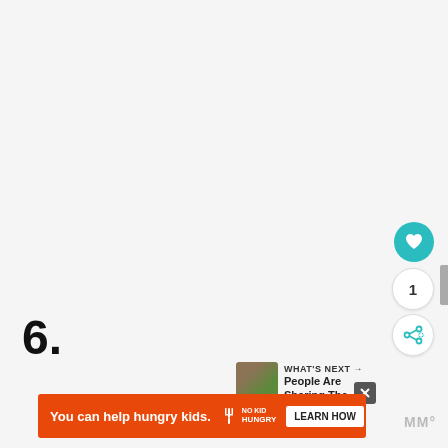[Figure (other): Heart/like button circle (teal) with heart icon]
1
[Figure (other): Share button circle (white) with share icon]
6.
[Figure (other): WHAT'S NEXT → thumbnail with text: People Are Sharing The...]
[Figure (other): Advertisement banner: You can help hungry kids. NO KID HUNGRY LEARN HOW]